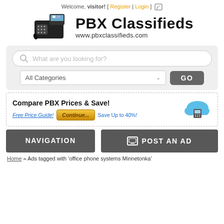Welcome, visitor! [ Register | Login ]
[Figure (logo): PBX desk phone with screen, alongside text 'PBX Classifieds' and 'www.pbxclassifieds.com']
What are you looking for?
All Categories  GO
[Figure (infographic): Ad banner: 'Compare PBX Prices & Save! Free Price Guide! Continue... Save Up to 40%!' with cloud and PBX icon]
NAVIGATION
POST AN AD
Home » Ads tagged with 'office phone systems Minnetonka'